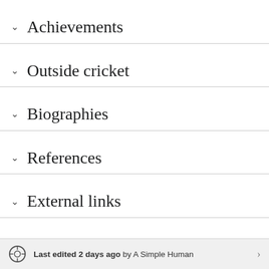Achievements
Outside cricket
Biographies
References
External links
Last edited 2 days ago by A Simple Human